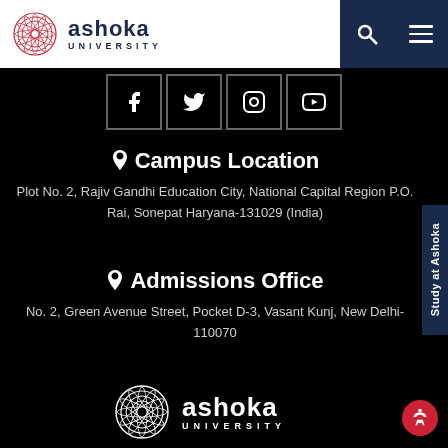[Figure (logo): Ashoka University logo in header]
[Figure (infographic): Social media icons row: Facebook, Twitter, Instagram, YouTube]
Campus Location
Plot No. 2, Rajiv Gandhi Education City, National Capital Region P.O. Rai, Sonepat Haryana-131029 (India)
Admissions Office
No. 2, Green Avenue Street, Pocket D-3, Vasant Kunj, New Delhi-110070
[Figure (logo): Ashoka University footer logo (white version)]